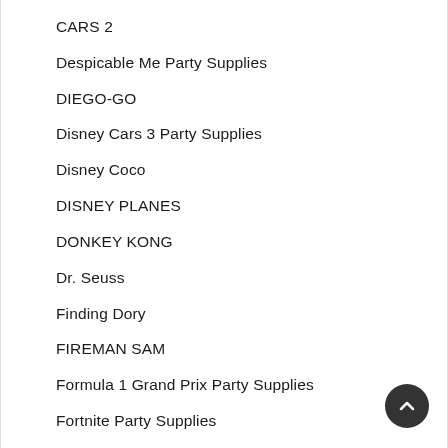CARS 2
Despicable Me Party Supplies
DIEGO-GO
Disney Cars 3 Party Supplies
Disney Coco
DISNEY PLANES
DONKEY KONG
Dr. Seuss
Finding Dory
FIREMAN SAM
Formula 1 Grand Prix Party Supplies
Fortnite Party Supplies